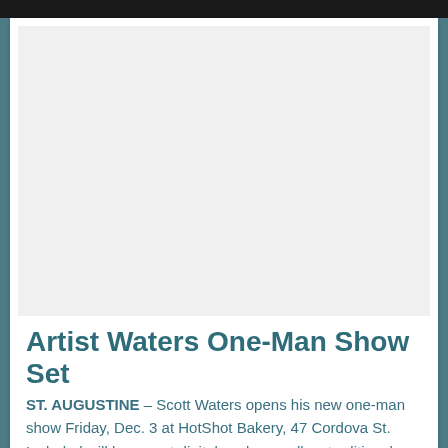[Figure (photo): Large placeholder image area, light gray background, representing an artwork or photograph related to Scott Waters' one-man show]
Artist Waters One-Man Show Set
ST. AUGUSTINE – Scott Waters opens his new one-man show Friday, Dec. 3 at HotShot Bakery, 47 Cordova St. Included will be recent digital work as well as traditional paintings and drawings. Scot, a professional portrait and landscape painter [Read